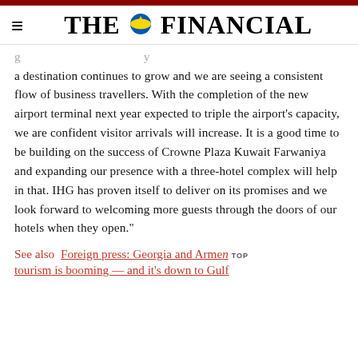THE FINANCIAL
a destination continues to grow and we are seeing a consistent flow of business travellers. With the completion of the new airport terminal next year expected to triple the airport's capacity, we are confident visitor arrivals will increase. It is a good time to be building on the success of Crowne Plaza Kuwait Farwaniya and expanding our presence with a three-hotel complex will help in that. IHG has proven itself to deliver on its promises and we look forward to welcoming more guests through the doors of our hotels when they open."
See also  Foreign press: Georgia and Armenia tourism is booming — and it's down to Gulf